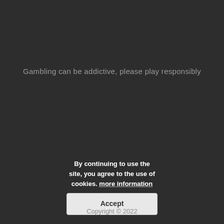Gambling can be addictive, please play responsibly
By continuing to use the site, you agree to the use of cookies. more information
Accept
Copyright © 2022